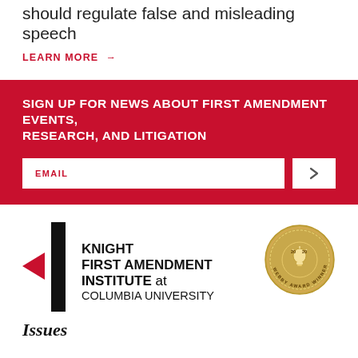should regulate false and misleading speech
LEARN MORE →
SIGN UP FOR NEWS ABOUT FIRST AMENDMENT EVENTS, RESEARCH, AND LITIGATION
EMAIL
[Figure (logo): Knight First Amendment Institute at Columbia University logo with red triangle and black vertical bar, alongside a gold Webby Award Winner 2020 medallion]
Issues